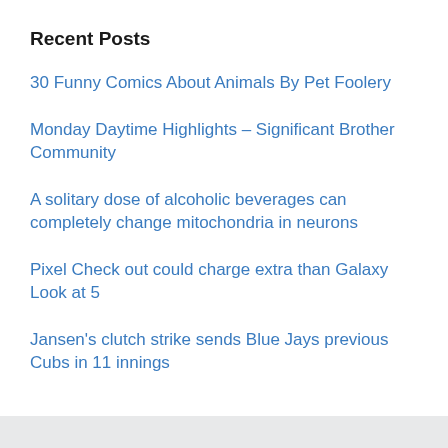Recent Posts
30 Funny Comics About Animals By Pet Foolery
Monday Daytime Highlights – Significant Brother Community
A solitary dose of alcoholic beverages can completely change mitochondria in neurons
Pixel Check out could charge extra than Galaxy Look at 5
Jansen's clutch strike sends Blue Jays previous Cubs in 11 innings